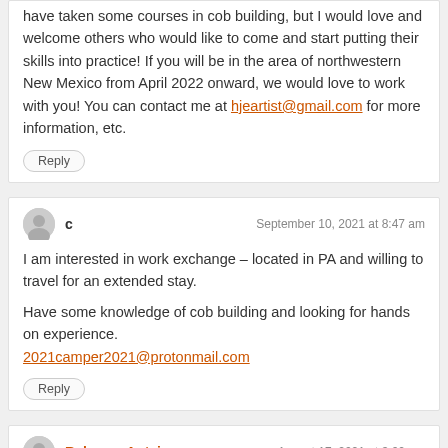have taken some courses in cob building, but I would love and welcome others who would like to come and start putting their skills into practice! If you will be in the area of northwestern New Mexico from April 2022 onward, we would love to work with you! You can contact me at hjeartist@gmail.com for more information, etc.
Reply
c — September 10, 2021 at 8:47 am
I am interested in work exchange – located in PA and willing to travel for an extended stay.
Have some knowledge of cob building and looking for hands on experience.
2021camper2021@protonmail.com
Reply
Rebecca Antsis — August 17, 2021 at 3:00 pm